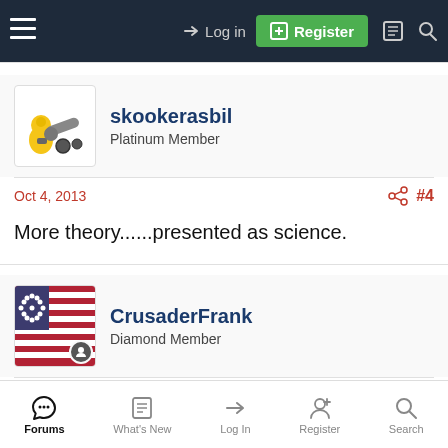Log in  Register
skookerasbil
Platinum Member
Oct 4, 2013  #4
More theory......presented as science.
CrusaderFrank
Diamond Member
Oct 4, 2013  #5
Old Rocks said:
Forums  What's New  Log In  Register  Search